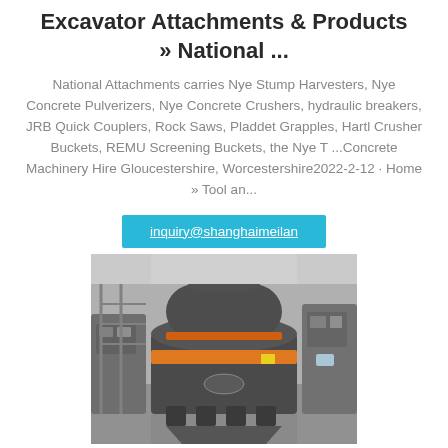Excavator Attachments & Products » National ...
National Attachments carries Nye Stump Harvesters, Nye Concrete Pulverizers, Nye Concrete Crushers, hydraulic breakers, JRB Quick Couplers, Rock Saws, Pladdet Grapples, Hartl Crusher Buckets, REMU Screening Buckets, the Nye T ...Concrete Machinery Hire Gloucestershire, Worcestershire2022-2-12 · Home » Tool an...
inquiry@shanghaimeilan
[Figure (photo): Industrial cone crusher machine, gray and orange colored, heavy machinery equipment shown from front angle]